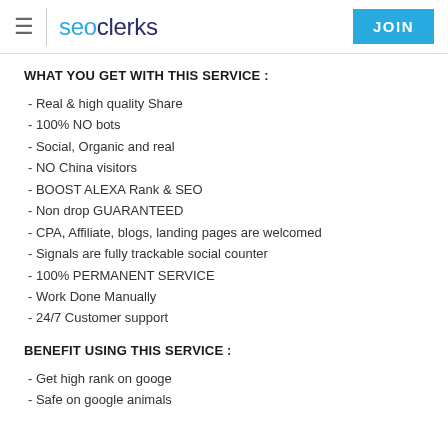seoclerks  JOIN
WHAT YOU GET WITH THIS SERVICE :
- Real & high quality Share
- 100% NO bots
- Social, Organic and real
- NO China visitors
- BOOST ALEXA Rank & SEO
- Non drop GUARANTEED
- CPA, Affiliate, blogs, landing pages are welcomed
- Signals are fully trackable social counter
- 100% PERMANENT SERVICE
- Work Done Manually
- 24/7 Customer support
BENEFIT USING THIS SERVICE :
- Get high rank on googe
- Safe on google animals